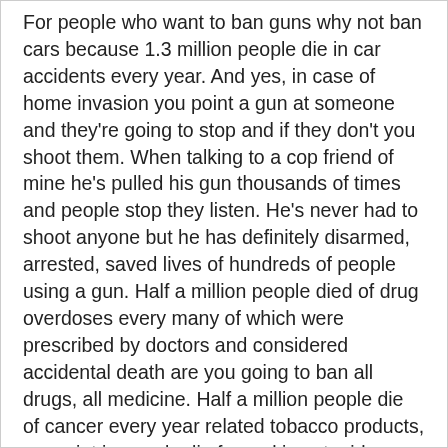For people who want to ban guns why not ban cars because 1.3 million people die in car accidents every year. And yes, in case of home invasion you point a gun at someone and they're going to stop and if they don't you shoot them. When talking to a cop friend of mine he's pulled his gun thousands of times and people stop they listen. He's never had to shoot anyone but he has definitely disarmed, arrested, saved lives of hundreds of people using a gun. Half a million people died of drug overdoses every many of which were prescribed by doctors and considered accidental death are you going to ban all drugs, all medicine. Half a million people die of cancer every year related tobacco products, my point is people die for making stupid choices. Again there are 400 million guns in the United States probably more 270 million registered gun owners. With your logic if all guns were bad there wouldn't be any one in America, we would all be dead. Do not punish the responsible upstanding citizens of the United States because of the mentally ill. It is not the guns that kill people, people kill people.